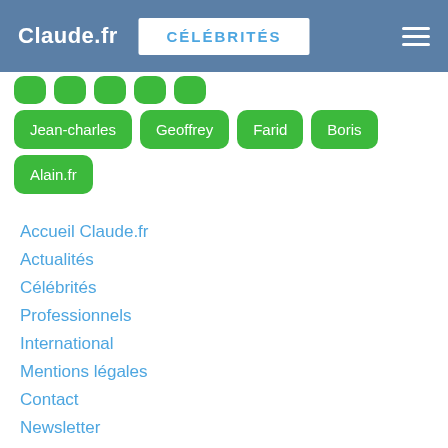Claude.fr | CÉLÉBRITÉS
Jean-charles
Geoffrey
Farid
Boris
Alain.fr
Accueil Claude.fr
Actualités
Célébrités
Professionnels
International
Mentions légales
Contact
Newsletter